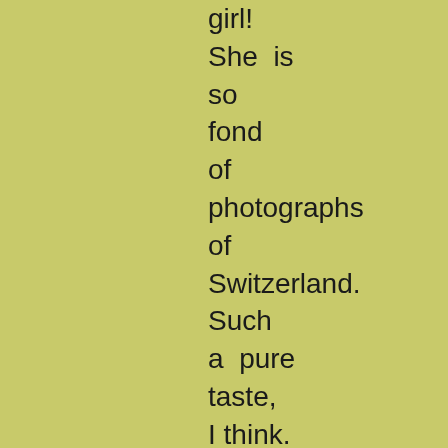girl! She is so fond of photographs of Switzerland. Such a pure taste, I think. But I really am so sorry for you, Margaret